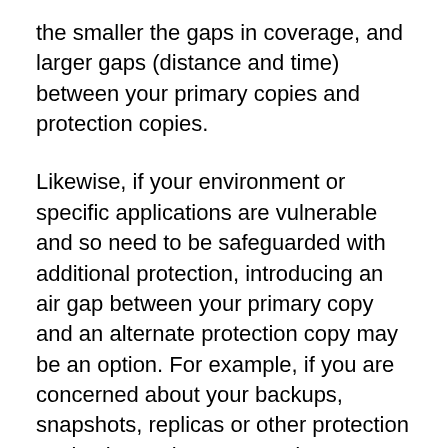the smaller the gaps in coverage, and larger gaps (distance and time) between your primary copies and protection copies.
Likewise, if your environment or specific applications are vulnerable and so need to be safeguarded with additional protection, introducing an air gap between your primary copy and an alternate protection copy may be an option. For example, if you are concerned about your backups, snapshots, replicas or other protection copies becoming corrupted, or an undetected virus, perhaps bit rot or something else that compromises the data integrity, having a separate protection copy and associated data infrastructure can be an option.